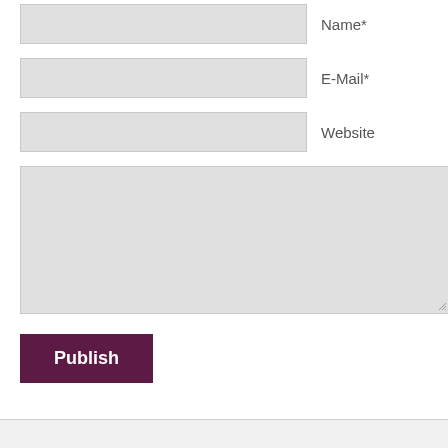Name*
E-Mail*
Website
[Figure (screenshot): Large textarea input field]
Publish
Back to top
Mobile | Desktop